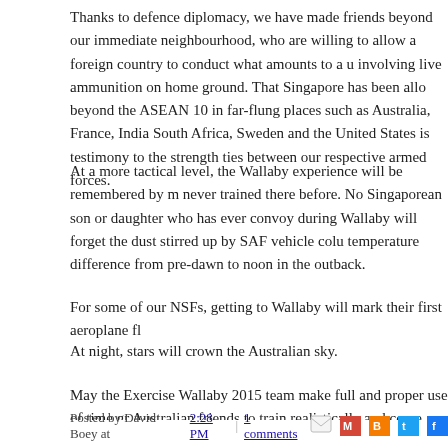Thanks to defence diplomacy, we have made friends beyond our immediate neighbourhood, who are willing to allow a foreign country to conduct what amounts to a u involving live ammunition on home ground. That Singapore has been allo beyond the ASEAN 10 in far-flung places such as Australia, France, India South Africa, Sweden and the United States is testimony to the strength ties between our respective armed forces.
At a more tactical level, the Wallaby experience will be remembered by m never trained there before. No Singaporean son or daughter who has ever convoy during Wallaby will forget the dust stirred up by SAF vehicle colu temperature difference from pre-dawn to noon in the outback.
For some of our NSFs, getting to Wallaby will mark their first aeroplane fl
At night, stars will crown the Australian sky.
May the Exercise Wallaby 2015 team make full and proper use of time gr Australian friends to train realistically and come home safely. And should shove, to put in practice what we've practised during land warfare manoe Conqueror to deal the knock-out blow swiftly and decisively and make st their eyes.
Posted by David Boey at 2:28 PM   1 comments